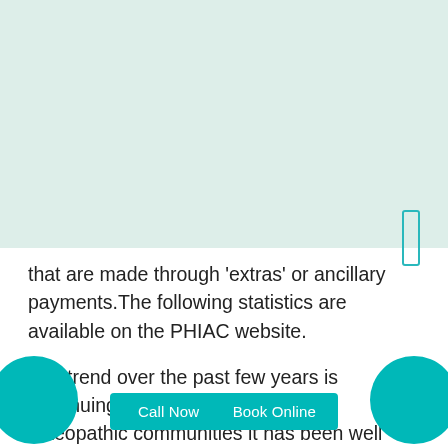[Figure (other): Light teal/mint background image area occupying the top portion of the page, with a teal scroll indicator rectangle on the right side]
that are made through 'extras' or ancillary payments.The following statistics are available on the PHIAC website.
The trend over the past few years is continuing at a rapid rate. Amongst osteopathic communities it has been well known that the profession has gained wider acceptance and more patients have had the opportunity to